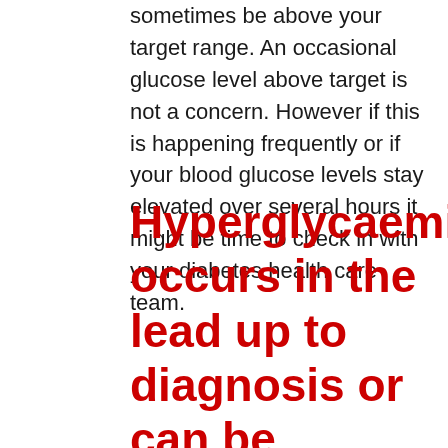sometimes be above your target range. An occasional glucose level above target is not a concern. However if this is happening frequently or if your blood glucose levels stay elevated over several hours it might be time to check in with your diabetes health care team.
Hyperglycaemia occurs in the lead up to diagnosis or can be caused by one or a number of the